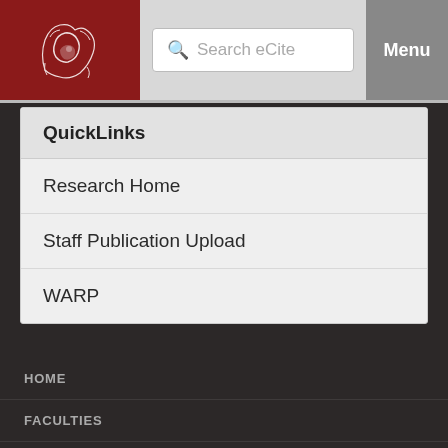[Figure (screenshot): University header bar with red logo, search box reading 'Search eCite', and grey Menu button]
QuickLinks
Research Home
Staff Publication Upload
WARP
HOME
FACULTIES
SPECIALIST INSTITUTES
DIVISIONS
Hobart
Launceston
Cradle Coast